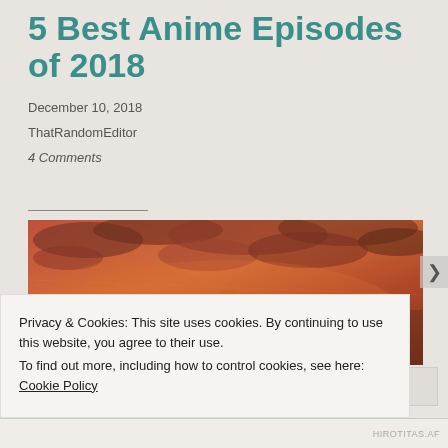5 Best Anime Episodes of 2018
December 10, 2018
ThatRandomEditor
4 Comments
[Figure (illustration): Anime scene showing characters against a dramatic orange/red sunset sky with clouds. Three anime characters visible — one with earmuffs on left, one in orange coat with headphones in center, one on right — appearing to be looking at something together outdoors.]
Privacy & Cookies: This site uses cookies. By continuing to use this website, you agree to their use.
To find out more, including how to control cookies, see here: Cookie Policy
Close and accept